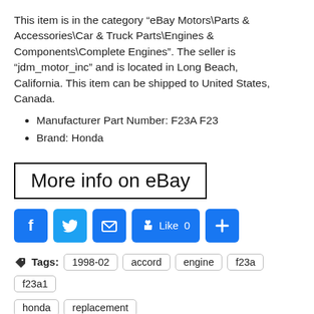This item is in the category “eBay Motors\Parts & Accessories\Car & Truck Parts\Engines & Components\Complete Engines”. The seller is “jdm_motor_inc” and is located in Long Beach, California. This item can be shipped to United States, Canada.
Manufacturer Part Number: F23A F23
Brand: Honda
More info on eBay
[Figure (other): Social sharing buttons: Facebook, Twitter, Email, Like (0), Plus]
Tags: 1998-02, accord, engine, f23a, f23a1, honda, replacement